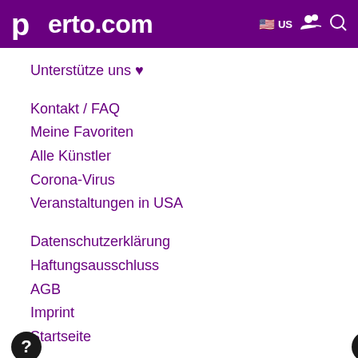perto.com — US navigation header
Unterstütze uns ♥
Kontakt / FAQ
Meine Favoriten
Alle Künstler
Corona-Virus
Veranstaltungen in USA
Datenschutzerklärung
Haftungsausschluss
AGB
Imprint
Startseite
[Figure (other): Share button with share icon]
[Figure (other): Help circle button with question mark]
[Figure (other): Scroll to top circle button with up arrow]